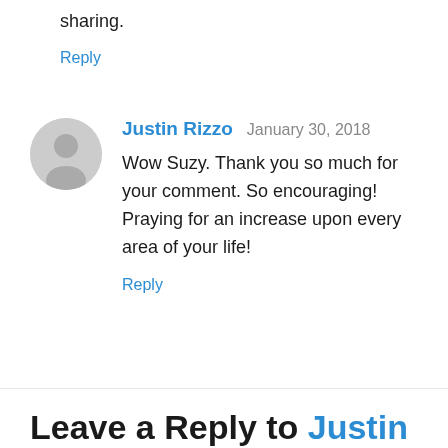sharing.
Reply
Justin Rizzo   January 30, 2018
Wow Suzy. Thank you so much for your comment. So encouraging! Praying for an increase upon every area of your life!
Reply
Leave a Reply to Justin Rizzo